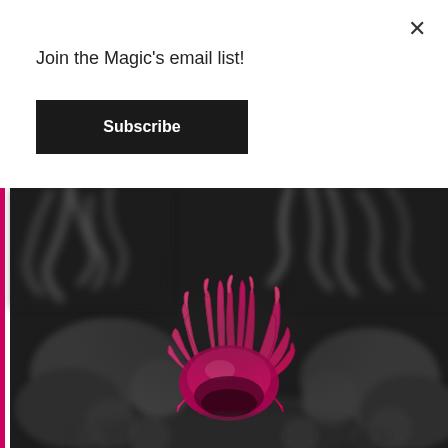×
Join the Magic's email list!
Subscribe
[Figure (photo): Close-up photograph of a bright pink/magenta sea anemone or coral against a blurred monochrome background of grey coral structures. The vibrant pink tentacles stand out dramatically against the desaturated grey surroundings.]